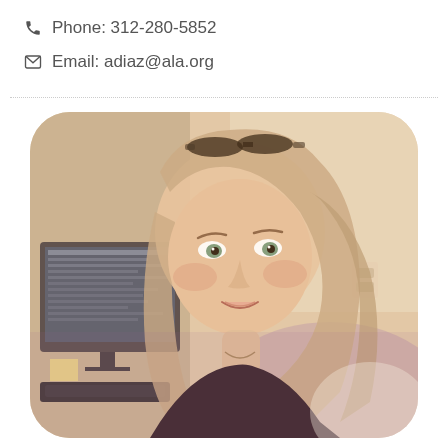Phone: 312-280-5852
Email: adiaz@ala.org
[Figure (photo): Portrait photo of a woman with long blonde/light brown hair and sunglasses on top of her head, smiling, sitting in front of a computer monitor in an office setting. Photo has a warm vintage filter. Image is displayed with rounded corners.]